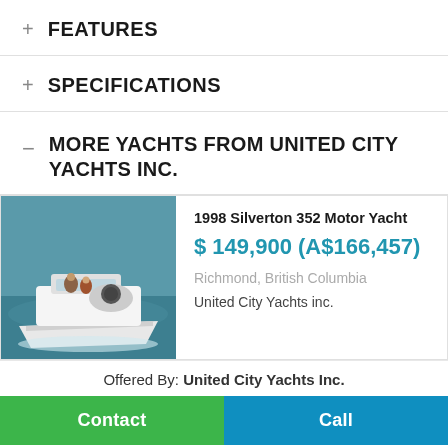+ FEATURES
+ SPECIFICATIONS
MORE YACHTS FROM UNITED CITY YACHTS INC.
[Figure (photo): Aerial/side photo of a white motor yacht (1998 Silverton 352) on blue-green water with people on deck]
1998 Silverton 352 Motor Yacht
$ 149,900 (A$166,457)
Richmond, British Columbia
United City Yachts inc.
Offered By: United City Yachts Inc.
Contact
Call